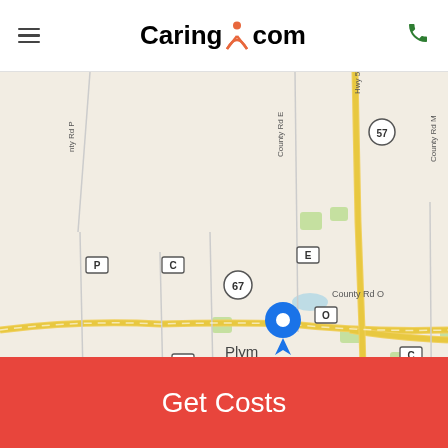Caring.com — mobile website header with hamburger menu and phone icon
[Figure (map): Google Maps view centered on Plymouth, Wisconsin showing state highways 57 and 67, County Roads C, E, O, Z, PP, M, U, and a blue location pin marker over Plymouth city center.]
Get Costs